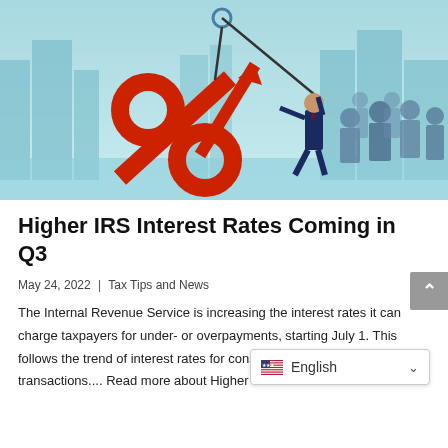[Figure (illustration): Hero illustration showing a large red percent sign with an upward arrow being lifted by a crane hook attached to a cable, with a businessman in a suit pulling the cable in front of a crowd of silhouetted people, against a teal/blue city skyline background.]
Higher IRS Interest Rates Coming in Q3
May 24, 2022 | Tax Tips and News
The Internal Revenue Service is increasing the interest rates it can charge taxpayers for under- or overpayments, starting July 1. This follows the trend of interest rates for consumer loans and other financial transactions.... Read more about Higher